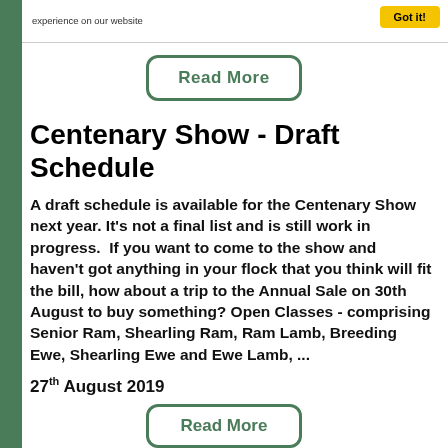experience on our website
Centenary Show - Draft Schedule
A draft schedule is available for the Centenary Show next year. It's not a final list and is still work in progress.  If you want to come to the show and haven't got anything in your flock that you think will fit the bill, how about a trip to the Annual Sale on 30th August to buy something? Open Classes - comprising Senior Ram, Shearling Ram, Ram Lamb, Breeding Ewe, Shearling Ewe and Ewe Lamb, ...
27th August 2019